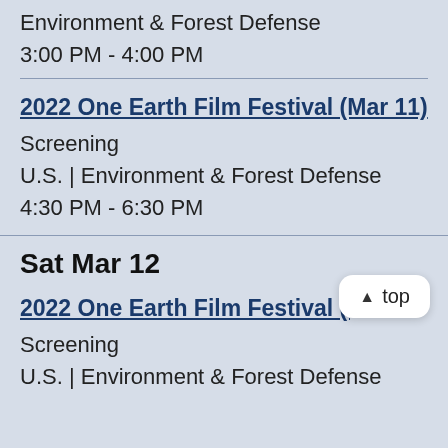Environment & Forest Defense
3:00 PM - 4:00 PM
2022 One Earth Film Festival (Mar 11)
Screening
U.S. | Environment & Forest Defense
4:30 PM - 6:30 PM
Sat Mar 12
2022 One Earth Film Festival (Mar...
Screening
U.S. | Environment & Forest Defense